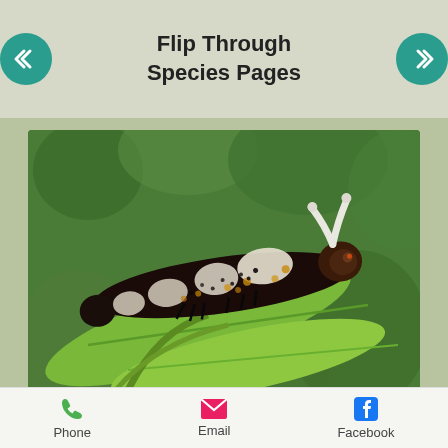Flip Through Species Pages
[Figure (photo): Final instar caterpillar/larva with black body, white patches, and osmeterium (forked white horn) on its head, resting on green leaves against a blurred green background]
Final instar larva exposing osmoterium
[Figure (photo): Partially visible butterfly with black and white wing pattern on green leaves, bottom portion of screen]
Phone  Email  Facebook